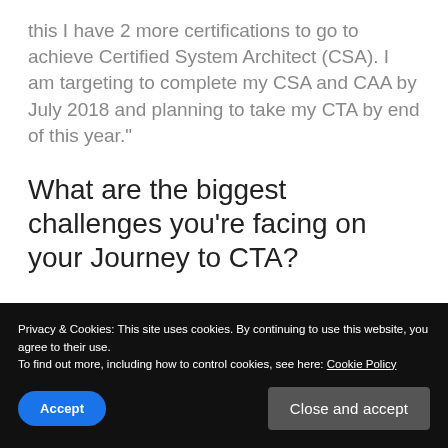this I have 2 more certifications to go to achieve Certified System Architect (CSA). I am targeting to complete my CSA and CAA by July 2018 and planning to take my CTA by end of this year."
What are the biggest challenges you’re facing on your Journey to CTA?
Privacy & Cookies: This site uses cookies. By continuing to use this website, you agree to their use.
To find out more, including how to control cookies, see here: Cookie Policy